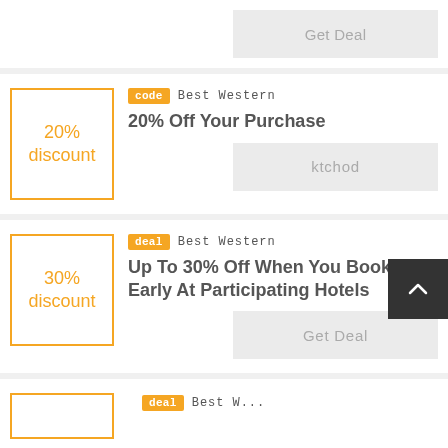[Figure (other): Partial coupon card at top with Get Deal button]
code Best Western
20% Off Your Purchase
ktchod
deal Best Western
Up To 30% Off When You Book Early At Participating Hotels
Get Deal
[Figure (other): Partial coupon card at bottom with deal badge and Best Western text]